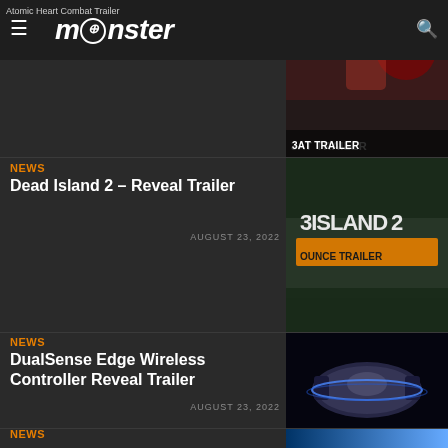Atomic Heart Combat Trailer
[Figure (screenshot): Monster gaming website header with hamburger menu, monster logo, and search icon]
[Figure (screenshot): Atomic Heart Combat Trailer thumbnail showing action game scene with text 'BAT TRAILER']
NEWS
Dead Island 2 – Reveal Trailer
AUGUST 23, 2022
[Figure (screenshot): Dead Island 2 Announce Trailer thumbnail showing game logo and zombie scene]
NEWS
DualSense Edge Wireless Controller Reveal Trailer
AUGUST 23, 2022
[Figure (screenshot): DualSense Edge Wireless Controller thumbnail showing PlayStation controller with blue glow]
NEWS